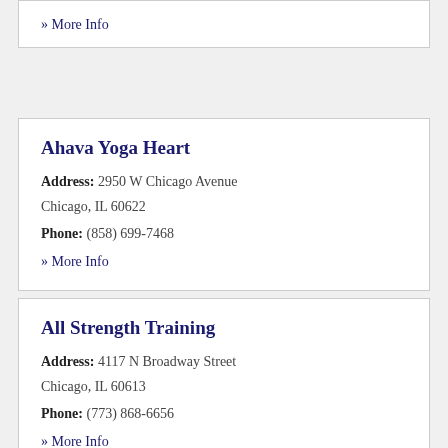» More Info
Ahava Yoga Heart
Address: 2950 W Chicago Avenue Chicago, IL 60622
Phone: (858) 699-7468
» More Info
All Strength Training
Address: 4117 N Broadway Street Chicago, IL 60613
Phone: (773) 868-6656
» More Info